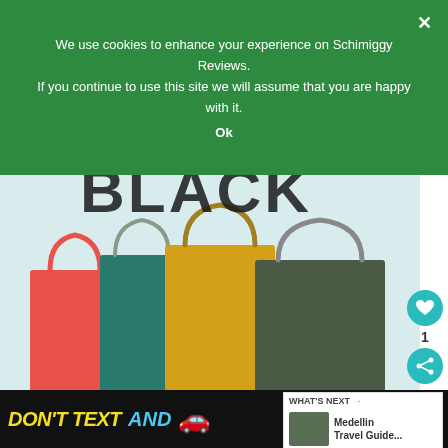We use cookies to enhance your experience on Schimiggy Reviews. If you continue to use this site we will assume that you are happy with it.
Ok
[Figure (photo): Colorful shopping bags on a light blue background with large BLACK text watermark. Bags are pink/red, teal/green, yellow, and dark gray/olive.]
2021 Black Friday Deals
[Figure (screenshot): What's Next promotional box showing thumbnail of Medellin Travel Guide article]
[Figure (photo): Ad banner: DON'T TEXT AND [car emoji] with NHTSA logo on black background]